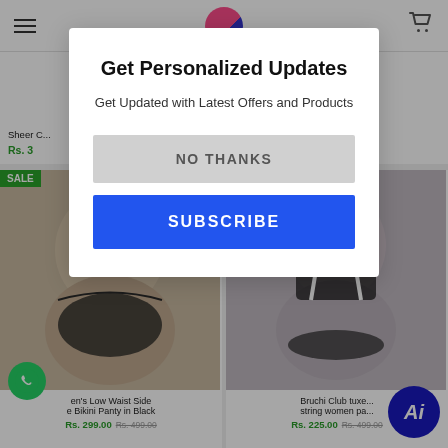[Figure (screenshot): E-commerce website screenshot showing a modal popup overlay on a lingerie/apparel product listing page. The modal has title 'Get Personalized Updates', subtitle 'Get Updated with Latest Offers and Products', a 'NO THANKS' gray button, and a 'SUBSCRIBE' blue button. Behind the modal are product cards with items including 'Sheer C...', panties, and sale items. A WhatsApp chat button and Adobe Illustrator badge are visible.]